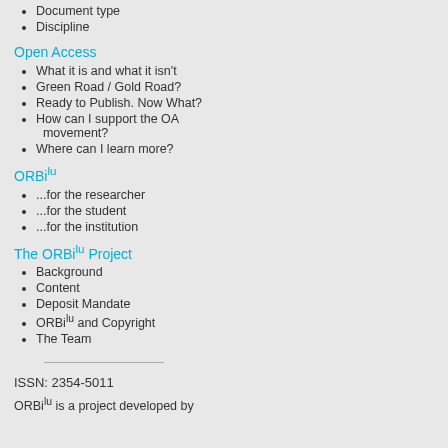Document type
Discipline
Open Access
What it is and what it isn't
Green Road / Gold Road?
Ready to Publish. Now What?
How can I support the OA movement?
Where can I learn more?
ORBilu
...for the researcher
...for the student
...for the institution
The ORBilu Project
Background
Content
Deposit Mandate
ORBilu and Copyright
The Team
ISSN: 2354-5011
ORBilu is a project developed by
Transfer of strategy
GAMO, SYLVIE; SANDER, E
in Learning and Instruction
Transfer of strategies between ... that makes evident the stru...